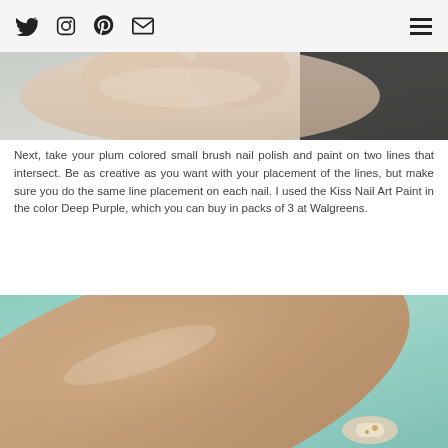Twitter Instagram Pinterest Email [menu]
[Figure (photo): Close-up photo of a hand with nails being painted, showing fingers against a light background with a dark sleeve visible]
Next, take your plum colored small brush nail polish and paint on two lines that intersect. Be as creative as you want with your placement of the lines, but make sure you do the same line placement on each nail. I used the Kiss Nail Art Paint in the color Deep Purple, which you can buy in packs of 3 at Walgreens.
[Figure (photo): Close-up macro photo of a finger/nail with nail art detail showing painted nail with small decorative element, against a teal/green blurred background]